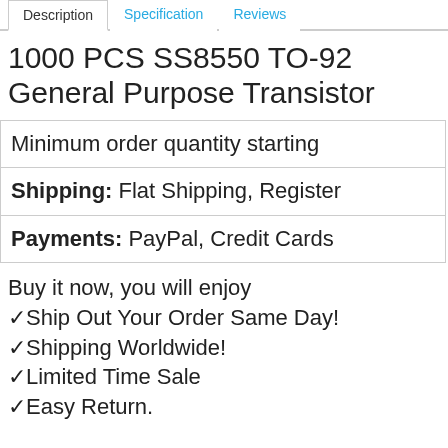Description | Specification | Reviews
1000 PCS SS8550 TO-92 General Purpose Transistor
| Minimum order quantity starting |
| Shipping: Flat Shipping, Register |
| Payments: PayPal, Credit Cards |
Buy it now, you will enjoy
✓Ship Out Your Order Same Day!
✓Shipping Worldwide!
✓Limited Time Sale
✓Easy Return.